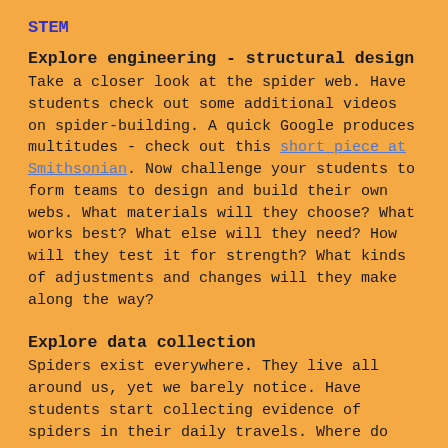STEM
Explore engineering - structural design
Take a closer look at the spider web.  Have students check out some additional videos on spider-building.  A quick Google produces multitudes - check out this short piece at Smithsonian.  Now challenge your students to form teams to design and build their own webs.  What materials will they choose? What works best? What else will they need? How will they test it for strength?  What kinds of adjustments and changes will they make along the way?
Explore data collection
Spiders exist everywhere.  They live all around us, yet we barely notice.  Have students start collecting evidence of spiders in their daily travels.  Where do